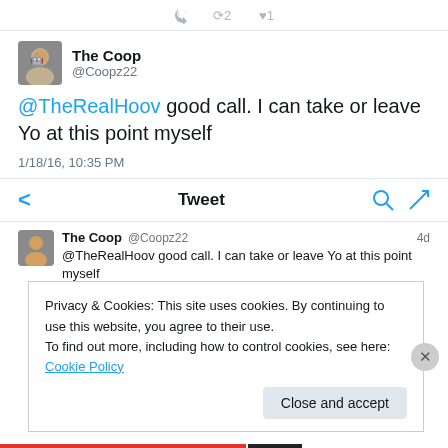[Figure (screenshot): Twitter/social media app screenshot showing a tweet by The Coop (@Coopz22) with cookie consent banner overlay]
The Coop @Coopz22
@TheRealHoov good call. I can take or leave Yo at this point myself
1/18/16, 10:35 PM
Tweet
The Coop @Coopz22 4d
@TheRealHoov good call. I can take or leave Yo at this point myself
Privacy & Cookies: This site uses cookies. By continuing to use this website, you agree to their use.
To find out more, including how to control cookies, see here: Cookie Policy
Close and accept